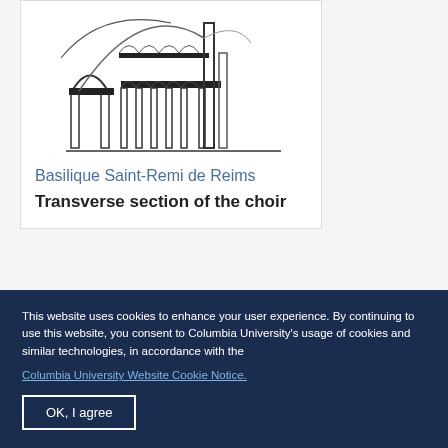[Figure (engineering-diagram): Architectural drawing: transverse section of the choir of Basilique Saint-Remi de Reims, showing arches, columns, and vaulting in black line art]
Basilique Saint-Remi de Reims
Transverse section of the choir
[Figure (engineering-diagram): Architectural drawing: circular plan/rose window diagram with radiating spokes and rectangular elements around the perimeter, in black line art]
This website uses cookies to enhance your user experience. By continuing to use this website, you consent to Columbia University's usage of cookies and similar technologies, in accordance with the
Columbia University Website Cookie Notice.
OK, I agree